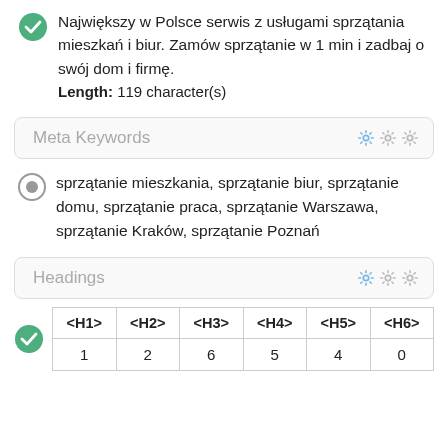Największy w Polsce serwis z usługami sprzątania mieszkań i biur. Zamów sprzątanie w 1 min i zadbaj o swój dom i firmę. Length: 119 character(s)
Meta Keywords
sprzątanie mieszkania, sprzątanie biur, sprzątanie domu, sprzątanie praca, sprzątanie Warszawa, sprzątanie Kraków, sprzątanie Poznań
Headings
| <H1> | <H2> | <H3> | <H4> | <H5> | <H6> |
| --- | --- | --- | --- | --- | --- |
| 1 | 2 | 6 | 5 | 4 | 0 |